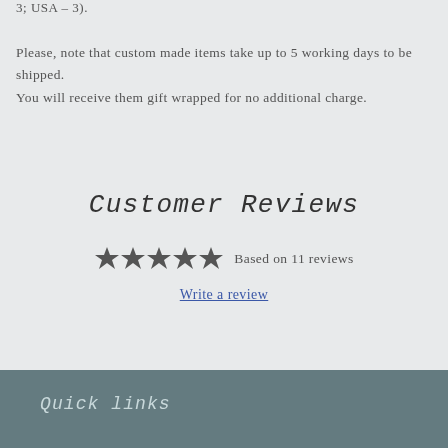3; USA – 3).
Please, note that custom made items take up to 5 working days to be shipped.
You will receive them gift wrapped for no additional charge.
Customer Reviews
Based on 11 reviews
Write a review
Quick links